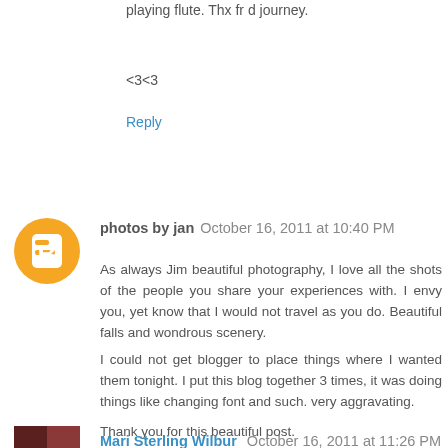playing flute. Thx fr d journey.
<3<3
Reply
[Figure (illustration): Blogger profile icon - orange circle with white B letter]
photos by jan  October 16, 2011 at 10:40 PM
As always Jim beautiful photography, I love all the shots of the people you share your experiences with. I envy you, yet know that I would not travel as you do. Beautiful falls and wondrous scenery.
I could not get blogger to place things where I wanted them tonight. I put this blog together 3 times, it was doing things like changing font and such. very aggravating.
Thank you for this beautiful post.
Reply
[Figure (photo): Small reddish/dark photo avatar for Mari Sterling Wilbur]
Mari Sterling Wilbur  October 16, 2011 at 11:26 PM